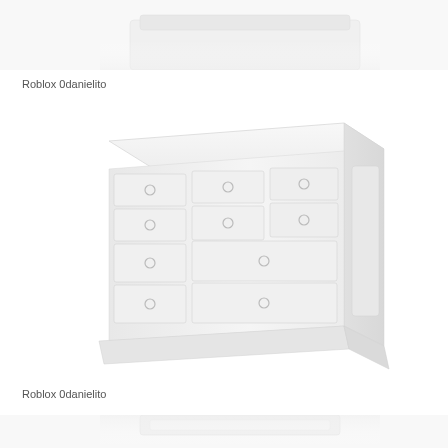[Figure (illustration): Top partial view of a white dresser/chest of drawers, cropped at bottom of page top]
Roblox 0danielito
[Figure (illustration): White wooden chest of drawers/dresser shown in 3D perspective with multiple drawers and round ring handles, very light/faded appearance]
Roblox 0danielito
[Figure (illustration): Bottom partial view of a white dresser/chest of drawers, cropped at top of page bottom]